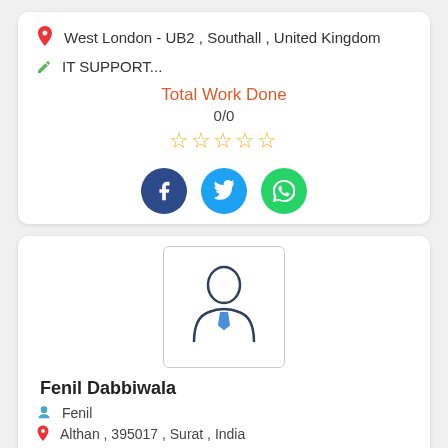West London - UB2 , Southall , United Kingdom
IT SUPPORT...
Total Work Done
0/0
[Figure (other): Five empty star rating icons in gold outline]
[Figure (other): Social media share buttons: Facebook (dark blue circle with f), Twitter (light blue circle with bird), WhatsApp (green circle with phone)]
[Figure (illustration): Default user avatar silhouette — person outline with tie inside a rounded rectangle border]
Fenil Dabbiwala
Fenil
Althan , 395017 , Surat , India